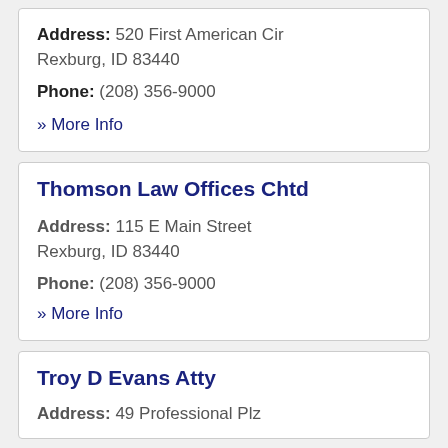Address: 520 First American Cir Rexburg, ID 83440
Phone: (208) 356-9000
» More Info
Thomson Law Offices Chtd
Address: 115 E Main Street Rexburg, ID 83440
Phone: (208) 356-9000
» More Info
Troy D Evans Atty
Address: 49 Professional Plz